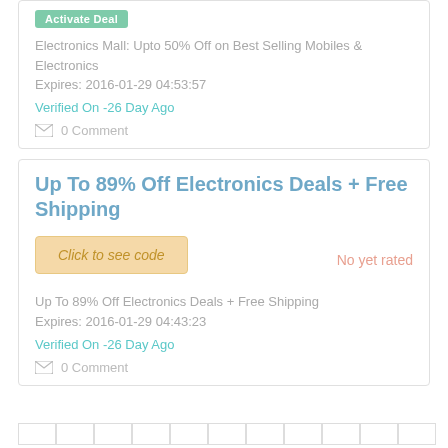Electronics Mall: Upto 50% Off on Best Selling Mobiles & Electronics
Expires: 2016-01-29 04:53:57
Verified On -26 Day Ago
0 Comment
Up To 89% Off Electronics Deals + Free Shipping
Click to see code
No yet rated
Up To 89% Off Electronics Deals + Free Shipping
Expires: 2016-01-29 04:43:23
Verified On -26 Day Ago
0 Comment